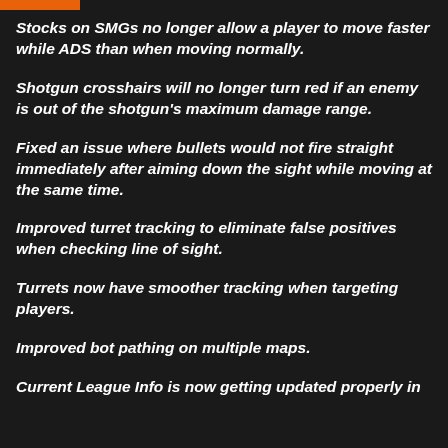Stocks on SMGs no longer allow a player to move faster while ADS than when moving normally.
Shotgun crosshairs will no longer turn red if an enemy is out of the shotgun's maximum damage range.
Fixed an issue where bullets would not fire straight immediately after aiming down the sight while moving at the same time.
Improved turret tracking to eliminate false positives when checking line of sight.
Turrets now have smoother tracking when targeting players.
Improved bot pathing on multiple maps.
Current League Info is now getting updated properly in